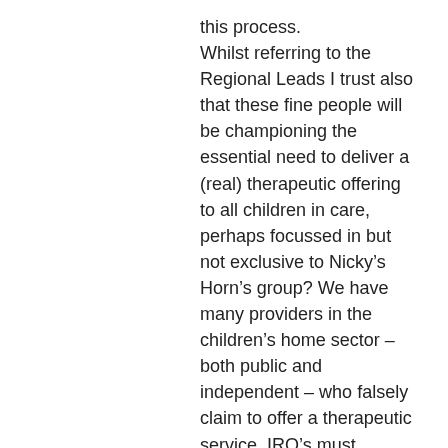this process. Whilst referring to the Regional Leads I trust also that these fine people will be championing the essential need to deliver a (real) therapeutic offering to all children in care, perhaps focussed in but not exclusive to Nicky's Horn's group? We have many providers in the children's home sector – both public and independent – who falsely claim to offer a therapeutic service. IRO's must challenge and expose such practice. Additionally, they must play their part individually as I know NIROMP does organisationally to challenge the inadequacy of many CAMHS services across the country. Your statement “55% of children in care do not know that they can access an independent